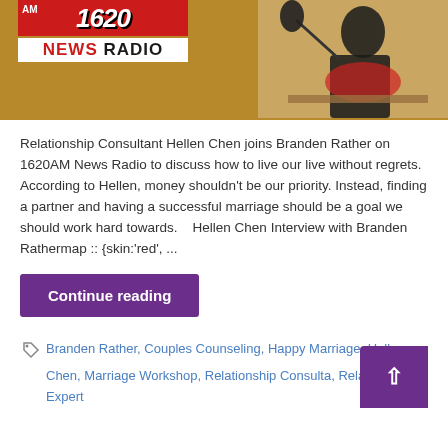[Figure (photo): Banner image showing a 1620AM News Radio logo on the left with red and white branding, and a woman sitting at a radio studio microphone on the right, with brown/warm background]
Relationship Consultant Hellen Chen joins Branden Rather on 1620AM News Radio to discuss how to live our live without regrets. According to Hellen, money shouldn't be our priority. Instead, finding a partner and having a successful marriage should be a goal we should work hard towards.   Hellen Chen Interview with Branden Rathermap :: {skin:'red', ...
Continue reading
Branden Rather, Couples Counseling, Happy Marriage, Hellen Chen, Marriage Workshop, Relationship Consultant, Relationship Expert